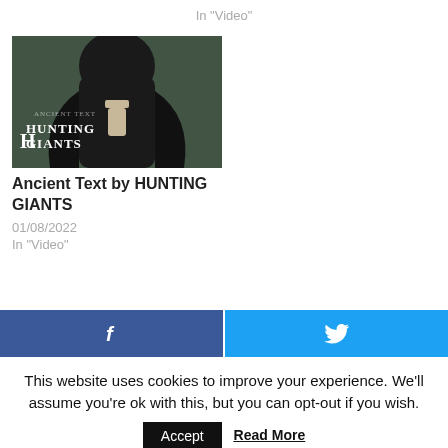In "Video"
[Figure (photo): Album cover or music video thumbnail showing a hooded figure holding a small object, with text overlay reading 'HUNTING GIANTS']
Ancient Text by HUNTING GIANTS
01/08/2022
In "Video"
[Figure (infographic): Social media share bar with Facebook (dark blue, f icon) and Twitter (blue, bird icon) buttons]
This website uses cookies to improve your experience. We'll assume you're ok with this, but you can opt-out if you wish.
Accept
Read More